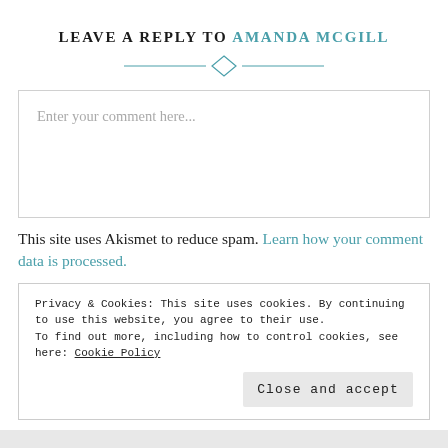LEAVE A REPLY TO AMANDA MCGILL
[Figure (illustration): Decorative horizontal divider with a diamond shape in the center and lines extending to both sides, in teal/blue color]
Enter your comment here...
This site uses Akismet to reduce spam. Learn how your comment data is processed.
Privacy & Cookies: This site uses cookies. By continuing to use this website, you agree to their use.
To find out more, including how to control cookies, see here: Cookie Policy
Close and accept